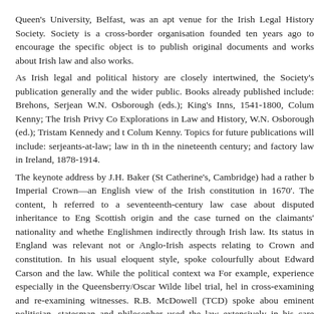Queen's University, Belfast, was an apt venue for the Irish Legal History Society. Society is a cross-border organisation founded ten years ago to encourage the specific object is to publish original documents and works about Irish law and also works. As Irish legal and political history are closely intertwined, the Society's publication generally and the wider public. Books already published include: Brehons, Serjean W.N. Osborough (eds.); King's Inns, 1541-1800, Colum Kenny; The Irish Privy Co Explorations in Law and History, W.N. Osborough (ed.); Tristam Kennedy and t Colum Kenny. Topics for future publications will include: serjeants-at-law; law in th in the nineteenth century; and factory law in Ireland, 1878-1914. The keynote address by J.H. Baker (St Catherine's, Cambridge) had a rather b Imperial Crown—an English view of the Irish constitution in 1670'. The content, h referred to a seventeenth-century law case about disputed inheritance to Eng Scottish origin and the case turned on the claimants' nationality and whethe Englishmen indirectly through Irish law. Its status in England was relevant not or Anglo-Irish aspects relating to Crown and constitution. In his usual eloquent style, spoke colourfully about Edward Carson and the law. While the political context wa For example, experience especially in the Queensberry/Oscar Wilde libel trial, hel in cross-examining and re-examining witnesses. R.B. McDowell (TCD) spoke abou eminent politician, statesman and philosopher used the law extensively in his care studies for the Bar at the Middle Temple, London. W.N. Osborough (UCD) cove address on 'Mysteries and solutions—experiencing Irish legal history'. He mention